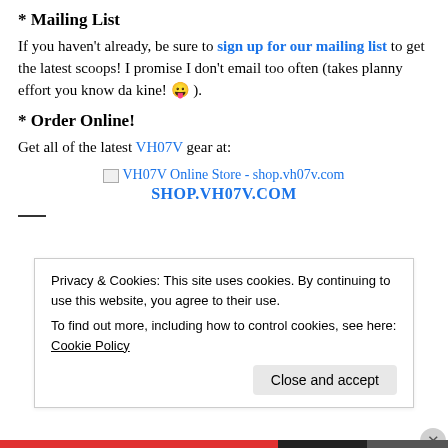* Mailing List
If you haven't already, be sure to sign up for our mailing list to get the latest scoops! I promise I don't email too often (takes planny effort you know da kine! 😛 ).
* Order Online!
Get all of the latest VH07V gear at:
[Figure (illustration): Broken image placeholder with alt text 'VH07V Online Store - shop.vh07v.com' in blue, followed by bold blue text 'SHOP.VH07V.COM' centered below]
—
Privacy & Cookies: This site uses cookies. By continuing to use this website, you agree to their use. To find out more, including how to control cookies, see here: Cookie Policy
Close and accept